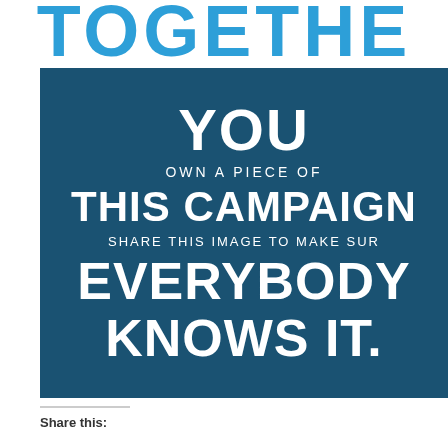TOGETHE
[Figure (infographic): Dark navy blue box with white text: YOU / OWN A PIECE OF / THIS CAMPAIGN / SHARE THIS IMAGE TO MAKE SUR / EVERYBODY / KNOWS IT.]
Share this: